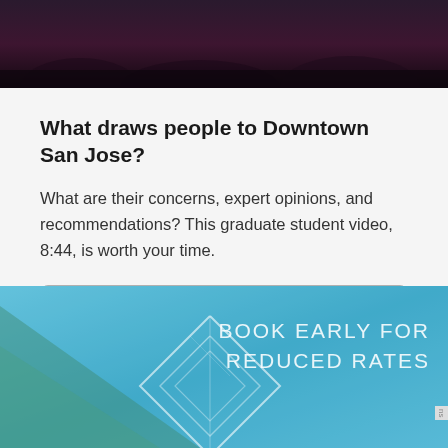[Figure (photo): Dark concert or event crowd photo at the top of the page]
What draws people to Downtown San Jose?
What are their concerns, expert opinions, and recommendations? This graduate student video, 8:44, is worth your time.
Read more
[Figure (photo): Blue travel/resort advertisement banner with mountain/diamond shape outline and text 'BOOK EARLY FOR REDUCED RATES']